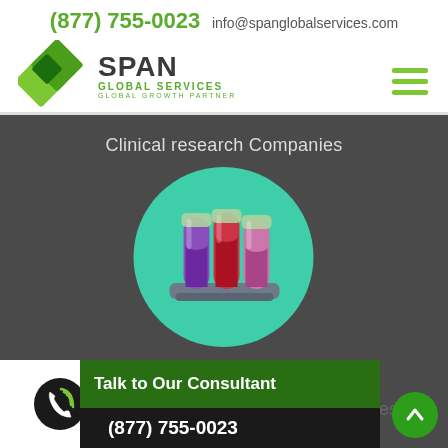(877) 755-0023  info@spanglobalservices.com
[Figure (logo): Span Global Services logo with green diamond shapes and company name]
Clinical research Companies
[Figure (illustration): Test tube rack illustration with three test tubes (purple, red, pink) inside a teal/green circle]
Talk to Our Consultant  (877) 755-0023